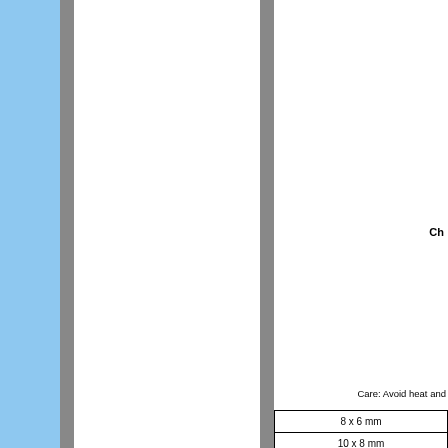Ch
Care: Avoid heat and
| 8 x 6 mm |
| 10 x 8 mm |
| 16 x 12 mm |
| 20 x 15 mm |